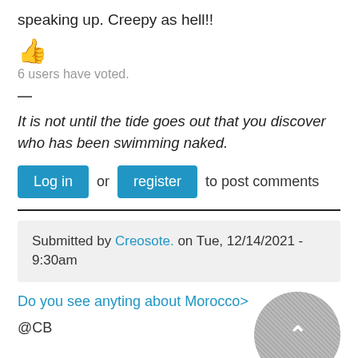speaking up. Creepy as hell!!
[Figure (illustration): Thumbs up emoji]
6 users have voted.
—
It is not until the tide goes out that you discover who has been swimming naked.
Log in or register to post comments
Submitted by Creosote. on Tue, 12/14/2021 - 9:30am
Do you see anyting about Morocco>
@CB
[Figure (photo): Circular avatar image with chevron overlay, textured dark background]